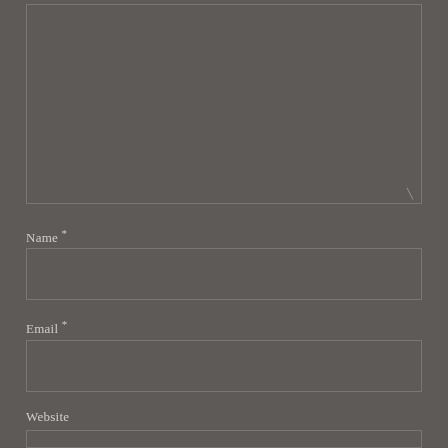[Figure (screenshot): Large text area input box with resize handle in bottom-right corner, dark gray background with subtle border]
Name *
[Figure (screenshot): Name text input field, dark gray background with subtle border]
Email *
[Figure (screenshot): Email text input field, dark gray background with subtle border]
Website
[Figure (screenshot): Website text input field, dark gray background with subtle border]